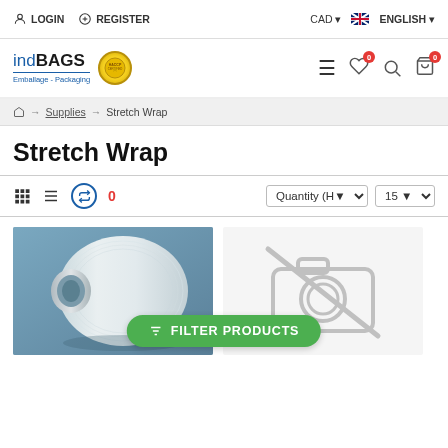LOGIN  REGISTER  CAD  ENGLISH
[Figure (logo): indBAGS Emballage-Packaging logo with HACCP medal badge]
Supplies → Stretch Wrap
Stretch Wrap
Quantity (H▼  15 ▼
[Figure (photo): Roll of stretch wrap/plastic film on a blue-grey background]
[Figure (other): No image available icon (camera with slash)]
✦ FILTER PRODUCTS